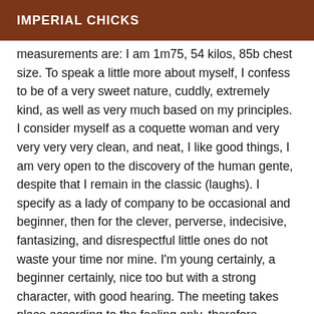IMPERIAL CHICKS
measurements are: I am 1m75, 54 kilos, 85b chest size. To speak a little more about myself, I confess to be of a very sweet nature, cuddly, extremely kind, as well as very much based on my principles. I consider myself as a coquette woman and very very very very clean, and neat, I like good things, I am very open to the discovery of the human gente, despite that I remain in the classic (laughs). I specify as a lady of company to be occasional and beginner, then for the clever, perverse, indecisive, fantasizing, and disrespectful little ones do not waste your time nor mine. I'm young certainly, a beginner certainly, nice too but with a strong character, with good hearing. The meeting takes place according to the feeling only, therefore politeness obliges me to thank you. ps: thank you for taking into consideration my requirements before contacting me. Lack of hygiene and travel outside Greeley is non-negotiable. I do not answer emails, sms or hidden calls.